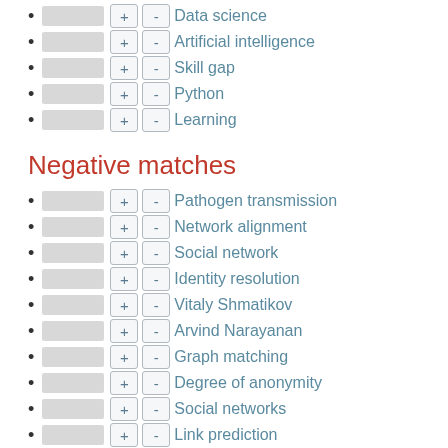Data science
Artificial intelligence
Skill gap
Python
Learning
Negative matches
Pathogen transmission
Network alignment
Social network
Identity resolution
Vitaly Shmatikov
Arvind Narayanan
Graph matching
Degree of anonymity
Social networks
Link prediction